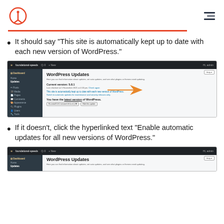HubSpot logo and navigation
It should say “This site is automatically kept up to date with each new version of WordPress.”
[Figure (screenshot): WordPress Updates admin page showing 'This site is automatically kept up to date with each new version of WordPress.' with an orange arrow pointing to that text. Current version: 5.8.1. You have the latest version of WordPress.]
If it doesn’t, click the hyperlinked text “Enable automatic updates for all new versions of WordPress.”
[Figure (screenshot): WordPress Updates admin page screenshot (partial view at bottom of page)]